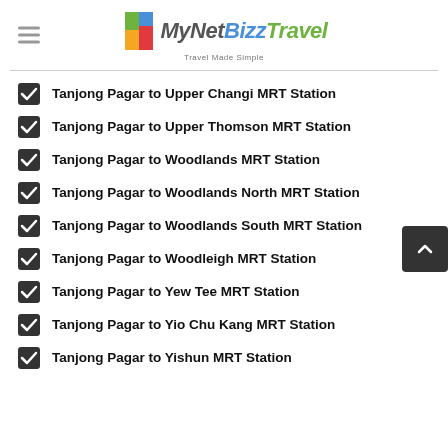MyNetBizzTravel — Travel Made Simple
Tanjong Pagar to Upper Changi MRT Station
Tanjong Pagar to Upper Thomson MRT Station
Tanjong Pagar to Woodlands MRT Station
Tanjong Pagar to Woodlands North MRT Station
Tanjong Pagar to Woodlands South MRT Station
Tanjong Pagar to Woodleigh MRT Station
Tanjong Pagar to Yew Tee MRT Station
Tanjong Pagar to Yio Chu Kang MRT Station
Tanjong Pagar to Yishun MRT Station